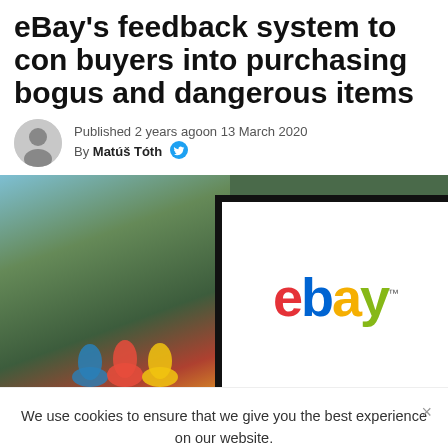eBay's feedback system to con buyers into purchasing bogus and dangerous items
Published 2 years agoon 13 March 2020 By Matúš Tóth
[Figure (photo): Photo showing a laptop displaying the eBay logo against a blurred outdoor background with colorful figures]
We use cookies to ensure that we give you the best experience on our website.
OK  No  Read more